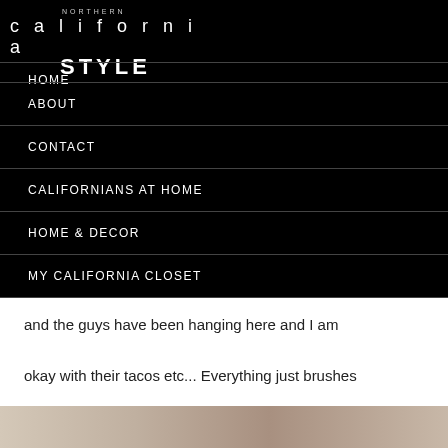NORTHERN california STYLE
HOME
ABOUT
CONTACT
CALIFORNIANS AT HOME
HOME & DECOR
MY CALIFORNIA CLOSET
and the guys have been hanging here and I am okay with their tacos etc... Everything just brushes right off! How cool is that?
[Figure (photo): Bottom strip showing a partial photo, appears to be a lifestyle/home image]